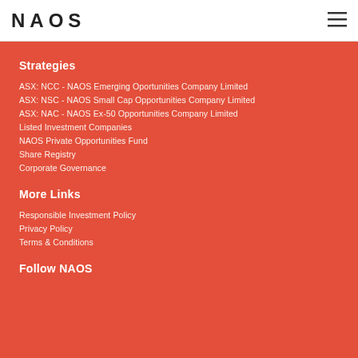NAOS
Strategies
ASX: NCC - NAOS Emerging Oportunities Company Limited
ASX: NSC - NAOS Small Cap Opportunities Company Limited
ASX: NAC - NAOS Ex-50 Opportunities Company Limited
Listed Investment Companies
NAOS Private Opportunities Fund
Share Registry
Corporate Governance
More Links
Responsible Investment Policy
Privacy Policy
Terms & Conditions
Follow NAOS